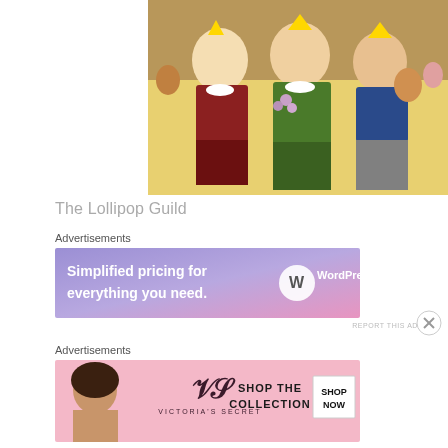[Figure (photo): Three Munchkin characters (The Lollipop Guild) from The Wizard of Oz, standing side by side in colorful costumes — left in brown plaid, center in green plaid holding flowers, right in blue — with a crowd in the background.]
The Lollipop Guild
Advertisements
[Figure (photo): WordPress.com advertisement banner: blue-to-pink gradient background with text 'Simplified pricing for everything you need.' and WordPress.com logo on the right.]
REPORT THIS AD
Advertisements
[Figure (photo): Victoria's Secret advertisement banner: pink background with a model, Victoria's Secret logo, and text 'SHOP THE COLLECTION' with a 'SHOP NOW' button.]
REPORT THIS AD